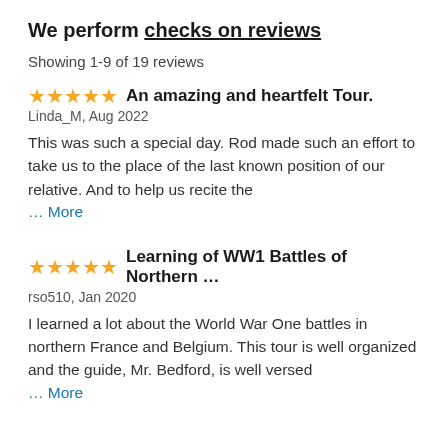We perform checks on reviews
Showing 1-9 of 19 reviews
An amazing and heartfelt Tour.
Linda_M, Aug 2022
This was such a special day. Rod made such an effort to take us to the place of the last known position of our relative. And to help us recite the … More
Learning of WW1 Battles of Northern ...
rso510, Jan 2020
I learned a lot about the World War One battles in northern France and Belgium. This tour is well organized and the guide, Mr. Bedford, is well versed … More